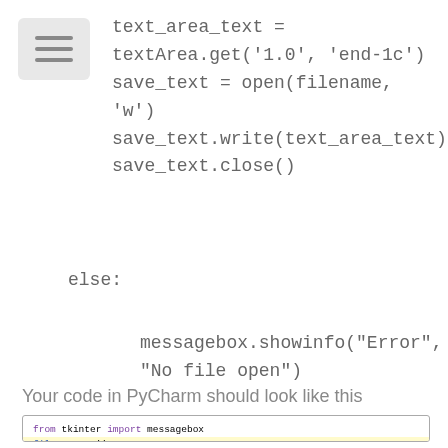[Figure (screenshot): Menu hamburger icon (three horizontal lines) on gray background]
text_area_text =
textArea.get('1.0', 'end-1c')
save_text = open(filename,
'w')
save_text.write(text_area_text)
save_text.close()
else:
messagebox.showinfo("Error",
"No file open")
Your code in PyCharm should look like this
[Figure (screenshot): PyCharm code editor screenshot showing Python code with tkinter import messagebox and filename variable]